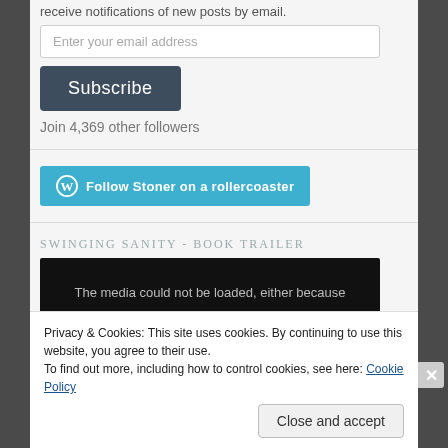receive notifications of new posts by email.
Enter your email address
Subscribe
Join 4,369 other followers
[Figure (other): Teal WordPress follow button reading 'Follow Stoner on a rollercoaster' with WordPress logo]
SWINGING SANITY - BOOK TRAILER
[Figure (screenshot): Video embed with dark background showing text: The media could not be loaded, either because]
Privacy & Cookies: This site uses cookies. By continuing to use this website, you agree to their use.
To find out more, including how to control cookies, see here: Cookie Policy
Close and accept